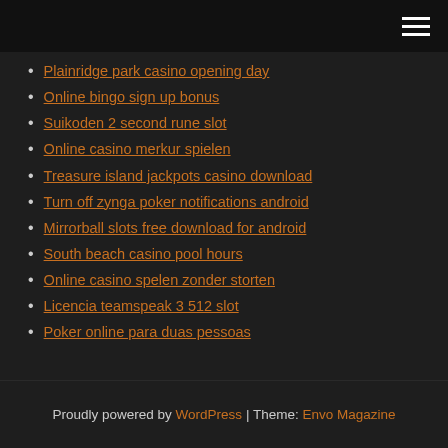[hamburger menu icon]
Plainridge park casino opening day
Online bingo sign up bonus
Suikoden 2 second rune slot
Online casino merkur spielen
Treasure island jackpots casino download
Turn off zynga poker notifications android
Mirrorball slots free download for android
South beach casino pool hours
Online casino spelen zonder storten
Licencia teamspeak 3 512 slot
Poker online para duas pessoas
Proudly powered by WordPress | Theme: Envo Magazine